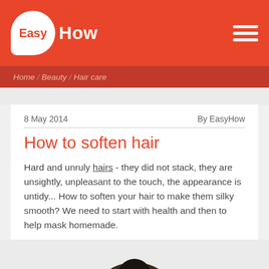EasyHow
Home / Beauty / Hair care
8 May 2014   By EasyHow
How to soften hair
Hard and unruly hairs - they did not stack, they are unsightly, unpleasant to the touch, the appearance is untidy... How to soften your hair to make them silky smooth? We need to start with health and then to help mask homemade.
[Figure (photo): Top of a person's head with dark hair, shown from above, cropped at bottom of page]